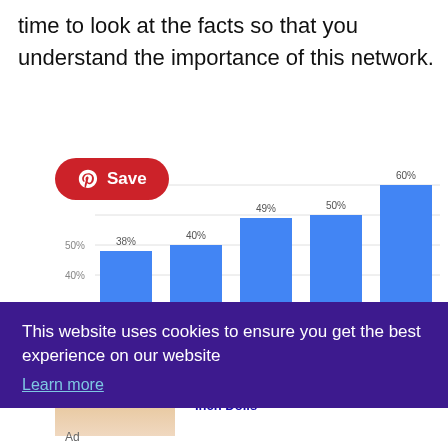time to look at the facts so that you understand the importance of this network.
[Figure (bar-chart): Bar chart showing percentages]
This website uses cookies to ensure you get the best experience on our website
Learn more
[Figure (photo): Doll photo advertisement]
Checkout Our New 18 Inch Dolls
Ad